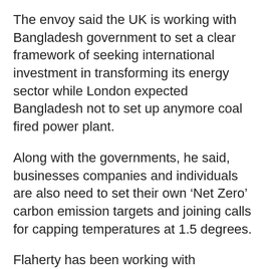The envoy said the UK is working with Bangladesh government to set a clear framework of seeking international investment in transforming its energy sector while London expected Bangladesh not to set up anymore coal fired power plant.
Along with the governments, he said, businesses companies and individuals are also need to set their own ‘Net Zero’ carbon emission targets and joining calls for capping temperatures at 1.5 degrees.
Flaherty has been working with governments, business and civil society across Asia and the Pacific to drive action on climate change ahead of COP26 in Glasgow.
He visited Bangladesh from October 12 to 14 as his